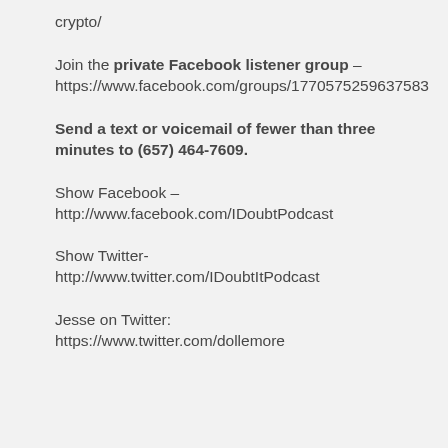crypto/
Join the private Facebook listener group – https://www.facebook.com/groups/1770575259637583
Send a text or voicemail of fewer than three minutes to (657) 464-7609.
Show Facebook – http://www.facebook.com/IDoubtPodcast
Show Twitter- http://www.twitter.com/IDoubtItPodcast
Jesse on Twitter: https://www.twitter.com/dollemore